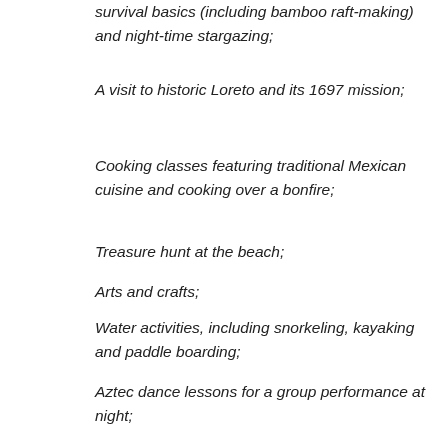survival basics (including bamboo raft-making) and night-time stargazing;
A visit to historic Loreto and its 1697 mission;
Cooking classes featuring traditional Mexican cuisine and cooking over a bonfire;
Treasure hunt at the beach;
Arts and crafts;
Water activities, including snorkeling, kayaking and paddle boarding;
Aztec dance lessons for a group performance at night;
Awards for participation in activities.
The one-week camp fees are competitively priced starting at $ 699 for the first child and $ 650 per additional child. Flights from LAX to Islands of Loreto are available through Cal Jet beginning at $ 499 (taxes and fees